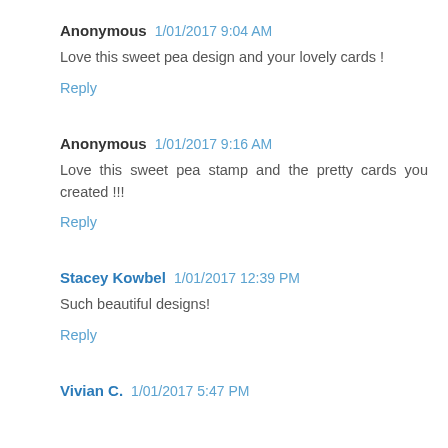Anonymous  1/01/2017 9:04 AM
Love this sweet pea design and your lovely cards !
Reply
Anonymous  1/01/2017 9:16 AM
Love this sweet pea stamp and the pretty cards you created !!!
Reply
Stacey Kowbel  1/01/2017 12:39 PM
Such beautiful designs!
Reply
Vivian C.  1/01/2017 5:47 PM